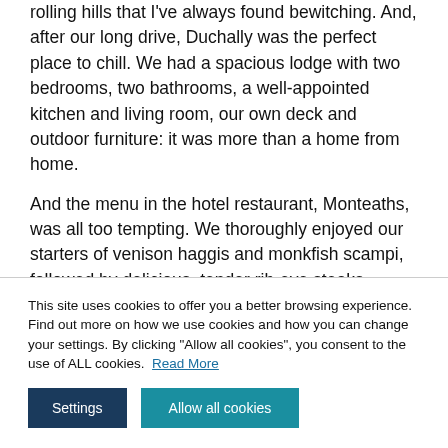rolling hills that I've always found bewitching. And, after our long drive, Duchally was the perfect place to chill. We had a spacious lodge with two bedrooms, two bathrooms, a well-appointed kitchen and living room, our own deck and outdoor furniture: it was more than a home from home.
And the menu in the hotel restaurant, Monteaths, was all too tempting. We thoroughly enjoyed our starters of venison haggis and monkfish scampi, followed by delicious, tender rib-eye steaks.
This site uses cookies to offer you a better browsing experience. Find out more on how we use cookies and how you can change your settings. By clicking "Allow all cookies", you consent to the use of ALL cookies. Read More